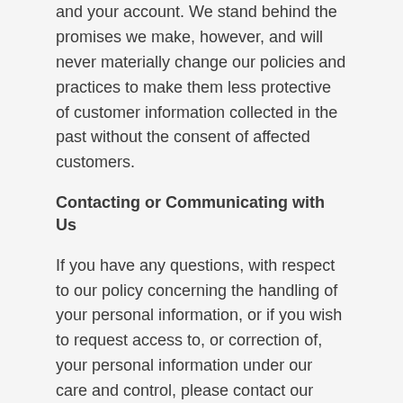and your account. We stand behind the promises we make, however, and will never materially change our policies and practices to make them less protective of customer information collected in the past without the consent of affected customers.
Contacting or Communicating with Us
If you have any questions, with respect to our policy concerning the handling of your personal information, or if you wish to request access to, or correction of, your personal information under our care and control, please contact our Privacy Officer:
Brian Ramsay, Privacy Officer
C.F.L.P.A. Office